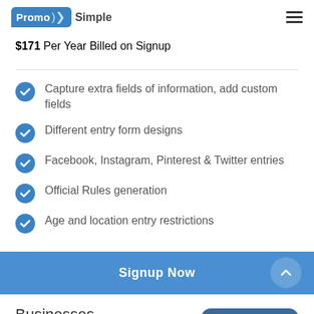PromoSimple
$171 Per Year Billed on Signup
Capture extra fields of information, add custom fields
Different entry form designs
Facebook, Instagram, Pinterest & Twitter entries
Official Rules generation
Age and location entry restrictions
Signup Now
Businesses
MOST POPULAR
$29 Per Month